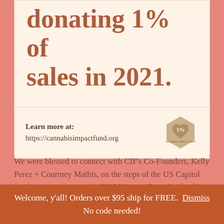donating 1% of sales in 2021.
Learn more at:
https://cannabisimpactfund.org
[Figure (logo): Cannabis Impact Fund logo - a tan/beige hexagonal shape with a heart cutout showing '1%' text and 'CANNABIS IMPACT FUND' text below]
We were blessed to connect with CIF's Co-Founders, Kelly Perez + Courtney Mathis, on the steps of the US Capitol for the group photo at the 2019 Women Grow Leadership Summit. When we learned about their work with Kind Colorado + Cannabis Doing Good, it was clear
Welcome, y'all! Orders over $95 ship for FREE. Dismiss
No code needed!